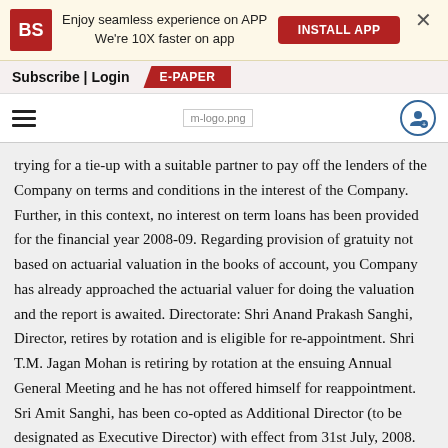[Figure (logo): Business Standard (BS) app install banner with red BS logo, text 'Enjoy seamless experience on APP We're 10X faster on app', INSTALL APP button, and close X]
Subscribe | Login   E-PAPER
m-logo.png [hamburger menu, logo, user icon]
trying for a tie-up with a suitable partner to pay off the lenders of the Company on terms and conditions in the interest of the Company. Further, in this context, no interest on term loans has been provided for the financial year 2008-09. Regarding provision of gratuity not based on actuarial valuation in the books of account, you Company has already approached the actuarial valuer for doing the valuation and the report is awaited. Directorate: Shri Anand Prakash Sanghi, Director, retires by rotation and is eligible for re-appointment. Shri T.M. Jagan Mohan is retiring by rotation at the ensuing Annual General Meeting and he has not offered himself for reappointment. Sri Amit Sanghi, has been co-opted as Additional Director (to be designated as Executive Director) with effect from 31st July, 2008. Sri M.K Agarwal, Sri M.L Agarwal, Sri O.P Jalan and Sri C.T Siva Muthy have been coopted as Additional Directors on the Board with effect from 31st July, 2008 Sri Siddharth Sanghi, Executive